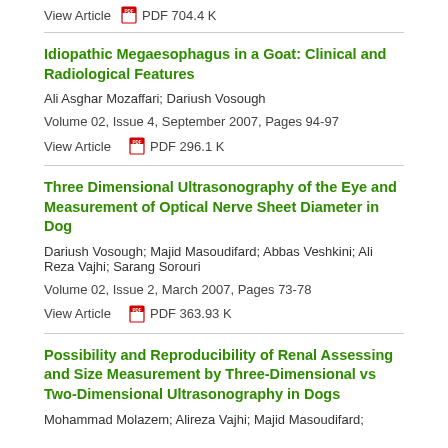View Article    PDF 704.4 K
Idiopathic Megaesophagus in a Goat: Clinical and Radiological Features
Ali Asghar Mozaffari; Dariush Vosough
Volume 02, Issue 4, September 2007, Pages 94-97
View Article    PDF 296.1 K
Three Dimensional Ultrasonography of the Eye and Measurement of Optical Nerve Sheet Diameter in Dog
Dariush Vosough; Majid Masoudifard; Abbas Veshkini; Ali Reza Vajhi; Sarang Sorouri
Volume 02, Issue 2, March 2007, Pages 73-78
View Article    PDF 363.93 K
Possibility and Reproducibility of Renal Assessing and Size Measurement by Three-Dimensional vs Two-Dimensional Ultrasonography in Dogs
Mohammad Molazem; Alireza Vajhi; Majid Masoudifard;